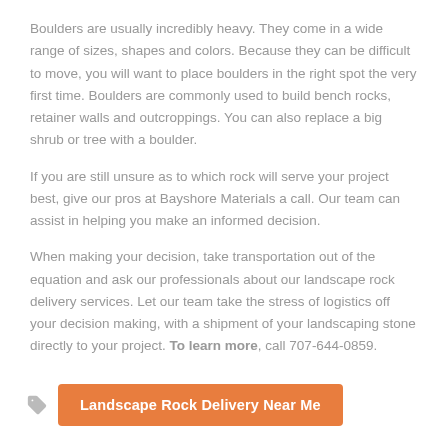Boulders are usually incredibly heavy. They come in a wide range of sizes, shapes and colors. Because they can be difficult to move, you will want to place boulders in the right spot the very first time. Boulders are commonly used to build bench rocks, retainer walls and outcroppings. You can also replace a big shrub or tree with a boulder.
If you are still unsure as to which rock will serve your project best, give our pros at Bayshore Materials a call. Our team can assist in helping you make an informed decision.
When making your decision, take transportation out of the equation and ask our professionals about our landscape rock delivery services. Let our team take the stress of logistics off your decision making, with a shipment of your landscaping stone directly to your project. To learn more, call 707-644-0859.
Landscape Rock Delivery Near Me